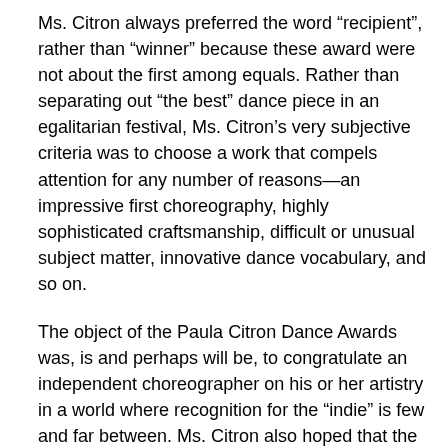Ms. Citron always preferred the word “recipient”, rather than “winner” because these award were not about the first among equals. Rather than separating out “the best” dance piece in an egalitarian festival, Ms. Citron’s very subjective criteria was to choose a work that compels attention for any number of reasons—an impressive first choreography, highly sophisticated craftsmanship, difficult or unusual subject matter, innovative dance vocabulary, and so on.
The object of the Paula Citron Dance Awards was, is and perhaps will be, to congratulate an independent choreographer on his or her artistry in a world where recognition for the “indie” is few and far between. Ms. Citron also hoped that the award would act as an encouragement for the choreographer to carry on in the lonely, and often difficult, pursuit of his or her craft.
Ms. Citron is willing to bring either of these awards back to life should any opportunity present itself.